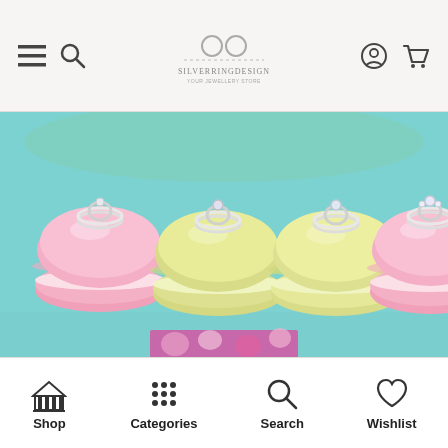Navigation bar with menu, search, logo, account, and cart icons
[Figure (photo): Four macarons (two pink, two yellow/green) displayed on a teal surface, each topped with a silver ring]
Sweeten your occasions with our exciting collections of genuine silver rings, carefully finished and manufactured.
Shop | Categories | Search | Wishlist